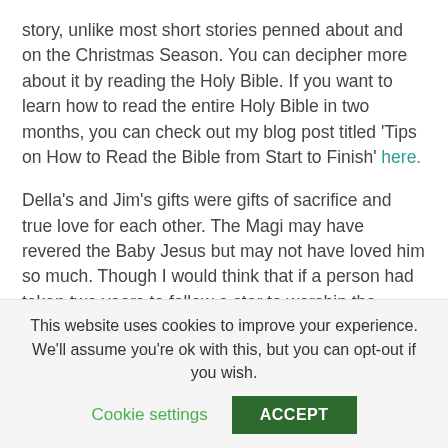story, unlike most short stories penned about and on the Christmas Season. You can decipher more about it by reading the Holy Bible. If you want to learn how to read the entire Holy Bible in two months, you can check out my blog post titled 'Tips on How to Read the Bible from Start to Finish' here.
Della's and Jim's gifts were gifts of sacrifice and true love for each other. The Magi may have revered the Baby Jesus but may not have loved him so much. Though I would think that if a person had taken two years to follow a star to worship the person to whom the star belonged, I suppose there should be a great deal of love connected
This website uses cookies to improve your experience. We'll assume you're ok with this, but you can opt-out if you wish.
Cookie settings | ACCEPT